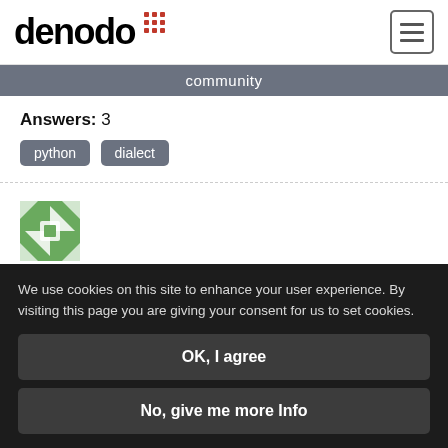denodo community
Answers: 3
python  dialect
[Figure (logo): Green and white geometric pattern/avatar icon for a community user]
We use cookies on this site to enhance your user experience. By visiting this page you are giving your consent for us to set cookies.
OK, I agree
No, give me more Info